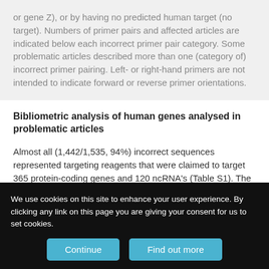or gene Z), or by having no predicted human target (no target). Numbers of primer pairs and affected articles are indicated below each incorrect primer pair category. Some problematic articles described more than one (category of) incorrect primer pairing. Left- or right-hand primers are not intended to indicate forward or reverse primer orientations.
Bibliometric analysis of human genes analysed in problematic articles
Almost all (1,442/1,535, 94%) incorrect sequences represented targeting reagents that were claimed to target 365 protein-coding genes and 120 ncRNA's (Table S1). The
We use cookies on this site to enhance your user experience. By clicking any link on this page you are giving your consent for us to set cookies.